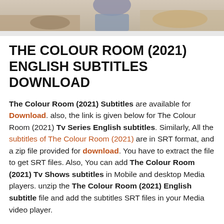[Figure (photo): Partial photo strip at top of page showing people outdoors, cropped]
THE COLOUR ROOM (2021) ENGLISH SUBTITLES DOWNLOAD
The Colour Room (2021) Subtitles are available for Download. also, the link is given below for The Colour Room (2021) Tv Series English subtitles. Similarly, All the subtitles of The Colour Room (2021) are in SRT format, and a zip file provided for download. You have to extract the file to get SRT files. Also, You can add The Colour Room (2021) Tv Shows subtitles in Mobile and desktop Media players. unzip the The Colour Room (2021) English subtitle file and add the subtitles SRT files in your Media video player.